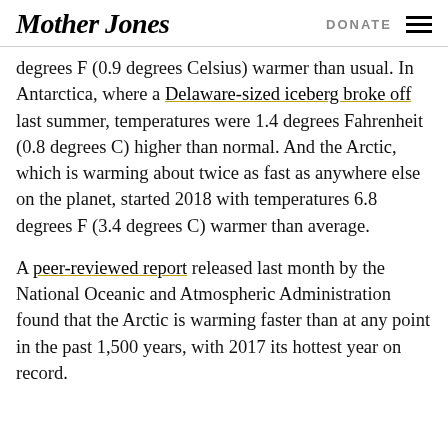Mother Jones  DONATE
degrees F (0.9 degrees Celsius) warmer than usual. In Antarctica, where a Delaware-sized iceberg broke off last summer, temperatures were 1.4 degrees Fahrenheit (0.8 degrees C) higher than normal. And the Arctic, which is warming about twice as fast as anywhere else on the planet, started 2018 with temperatures 6.8 degrees F (3.4 degrees C) warmer than average.
A peer-reviewed report released last month by the National Oceanic and Atmospheric Administration found that the Arctic is warming faster than at any point in the past 1,500 years, with 2017 its hottest year on record.